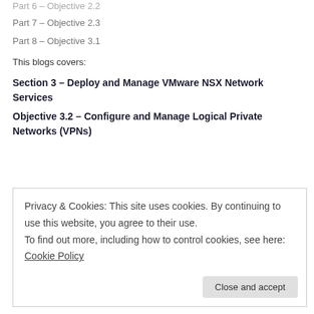Part 6 – Objective 2.2
Part 7 – Objective 2.3
Part 8 – Objective 3.1
This blogs covers:
Section 3 – Deploy and Manage VMware NSX Network Services
Objective 3.2 – Configure and Manage Logical Private Networks (VPNs)
Privacy & Cookies: This site uses cookies. By continuing to use this website, you agree to their use.
To find out more, including how to control cookies, see here: Cookie Policy
Close and accept